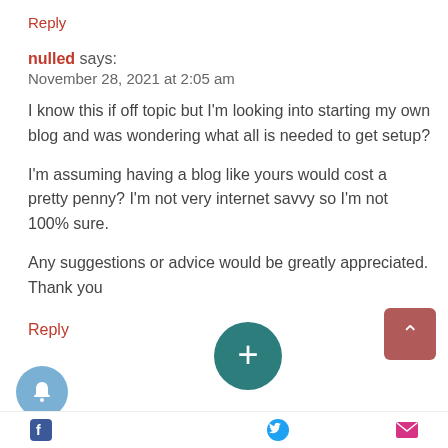Reply
nulled says:
November 28, 2021 at 2:05 am
I know this if off topic but I'm looking into starting my own blog and was wondering what all is needed to get setup?

I'm assuming having a blog like yours would cost a pretty penny? I'm not very internet savvy so I'm not 100% sure.

Any suggestions or advice would be greatly appreciated.
Thank you
Reply